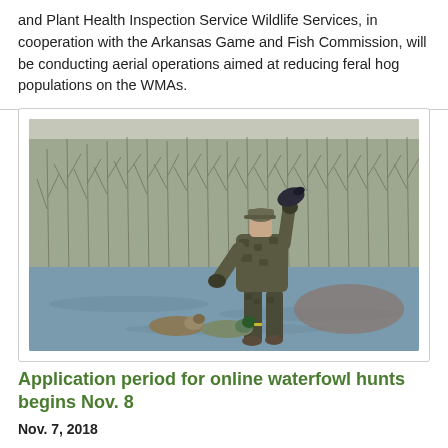and Plant Health Inspection Service Wildlife Services, in cooperation with the Arkansas Game and Fish Commission, will be conducting aerial operations aimed at reducing feral hog populations on the WMAs.
[Figure (photo): A person wearing camouflage hunting gear and a cap stands in shallow water, holding a duck decoy. Two duck decoys float on the water in front of them. The background shows bare winter trees and water.]
Application period for online waterfowl hunts begins Nov. 8
Nov. 7, 2018